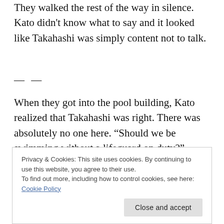They walked the rest of the way in silence. Kato didn't know what to say and it looked like Takahashi was simply content not to talk.
— —
When they got into the pool building, Kato realized that Takahashi was right. There was absolutely no one here. “Should we be swimming without a lifeguard on duty?”
Privacy & Cookies: This site uses cookies. By continuing to use this website, you agree to their use.
To find out more, including how to control cookies, see here: Cookie Policy
Close and accept